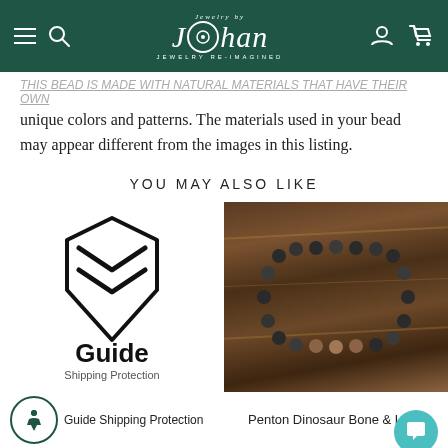Jewelry by Johan — JEWELRY RE-IMAGINED
unique colors and patterns. The materials used in your bead may appear different from the images in this listing.
YOU MAY ALSO LIKE
[Figure (logo): Guide Shipping Protection logo — shield with stylized G, text: Guide, Shipping Protection]
[Figure (photo): Penton Dinosaur Bone & Lava bead bracelet on wooden surface]
Guide Shipping Protection
Penton Dinosaur Bone & Lava